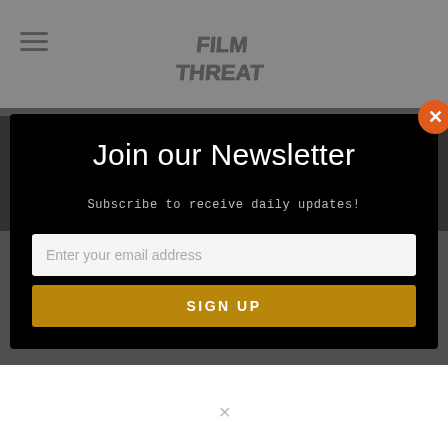Film Threat
And lazy. And they don't pay attention. Perhaps it has something to do with texting or talking during movies
Join our Newsletter
Subscribe to receive daily updates!
Enter your email address
SIGN UP